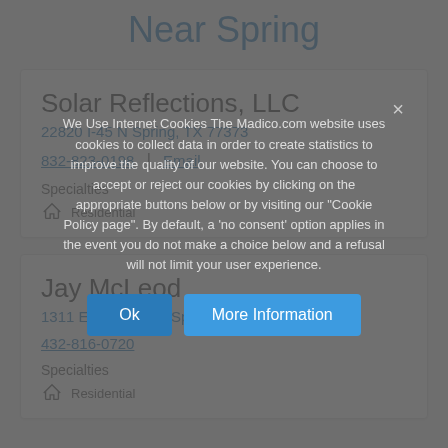Near Spring
Solar Reflections, LLC
22820 I-45 N Spring, TX 77373
832-823-0198 | Email
Specialties
Residential
Jay McLeod
1311 E. 3rd St. Big Spring, TX 79720
432-816-0720
Specialties
Residential
We Use Internet Cookies The Madico.com website uses cookies to collect data in order to create statistics to improve the quality of our website. You can choose to accept or reject our cookies by clicking on the appropriate buttons below or by visiting our "Cookie Policy page". By default, a 'no consent' option applies in the event you do not make a choice below and a refusal will not limit your user experience.